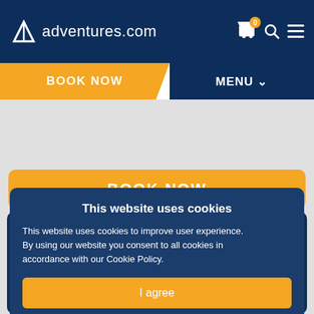adventures.com
BOOK NOW
MENU
[Figure (screenshot): Grey content area with orange BOOK NOW button]
BOOK NOW
This website uses cookies
This website uses cookies to improve user experience. By using our website you consent to all cookies in accordance with our Cookie Policy.
I agree
I disagree
Read more